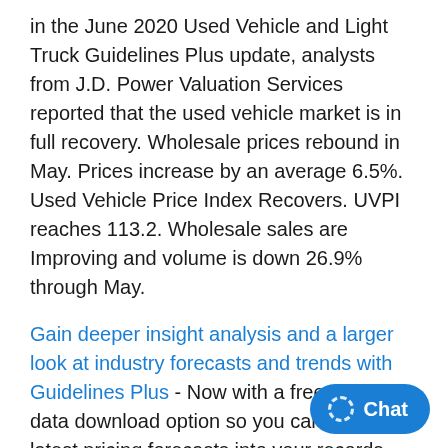in the June 2020 Used Vehicle and Light Truck Guidelines Plus update, analysts from J.D. Power Valuation Services reported that the used vehicle market is in full recovery. Wholesale prices rebound in May. Prices increase by an average 6.5%. Used Vehicle Price Index Recovers. UVPI reaches 113.2. Wholesale sales are Improving and volume is down 26.9% through May.
Gain deeper insight analysis and a larger look at industry forecasts and trends with Guidelines Plus - Now with a free available data download option so you can insert latest pricing forecasts into your records
In the June 2020 Commercial Truck Guidelines Industry Update, analysts from J.D. Power Valuation Services reported that Class 8 retail sales per rooftop saw a relatively healthy increase. Pricing dipped depreciation is within a historically-typical range. Class 8